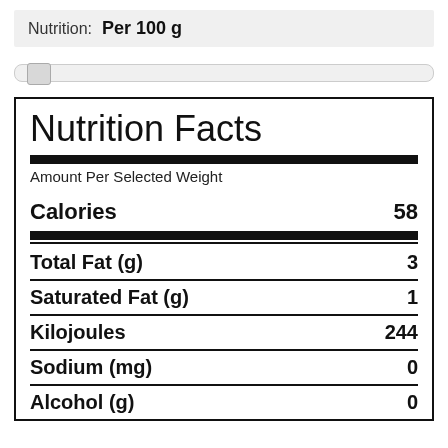Nutrition:  Per 100 g
[Figure (other): Horizontal slider control positioned near left end]
Nutrition Facts
Amount Per Selected Weight
| Nutrient | Value |
| --- | --- |
| Calories | 58 |
| Total Fat (g) | 3 |
| Saturated Fat (g) | 1 |
| Kilojoules | 244 |
| Sodium (mg) | 0 |
| Alcohol (g) | 0 |